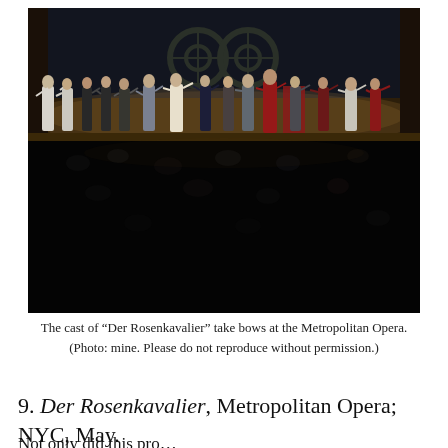[Figure (photo): Cast of Der Rosenkavalier taking bows on stage at the Metropolitan Opera. Multiple performers standing in a row with arms raised/joined, stage lighting visible, dark audience area in the lower portion.]
The cast of “Der Rosenkavalier” take bows at the Metropolitan Opera. (Photo: mine. Please do not reproduce without permission.)
9. Der Rosenkavalier, Metropolitan Opera; NYC, May.
Not only did this pro…